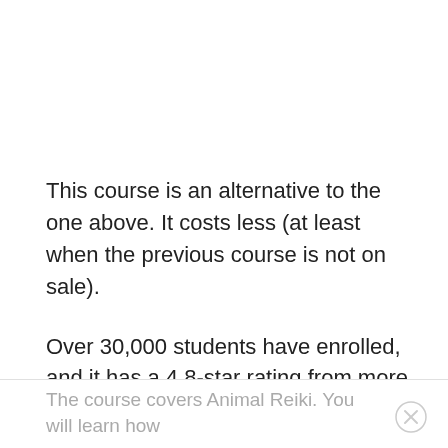This course is an alternative to the one above. It costs less (at least when the previous course is not on sale).
Over 30,000 students have enrolled, and it has a 4.8-star rating from more than 7,000 reviews.
There are two hours of video content, seven articles, and 18 downloadable resources.
The course covers Animal Reiki. You will learn how